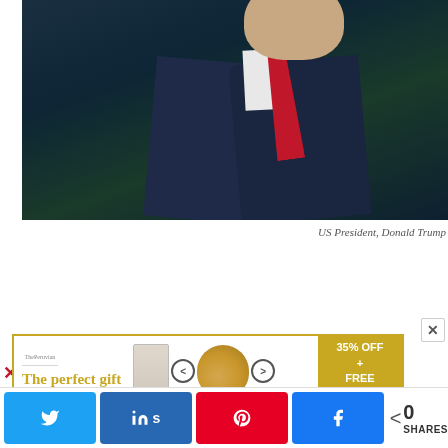[Figure (photo): Photo of US President Donald Trump in a dark blue suit with red tie, photographed from the side/back, with blurred dark green background]
US President, Donald Trump
[Figure (infographic): Advertisement banner: 'The perfect gift' with kitchenware images and '35% OFF + FREE SHIPPING' promotional text on gold background]
[Figure (infographic): Social media share bar with Twitter, LinkedIn, Pinterest, and Facebook share buttons, and a share count showing 0 SHARES]